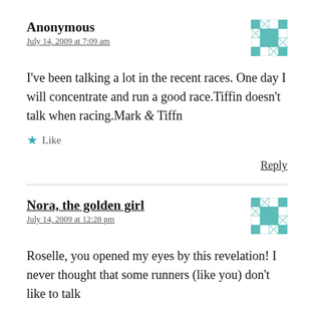Anonymous
July 14, 2009 at 7:09 am
I've been talking a lot in the recent races. One day I will concentrate and run a good race.Tiffin doesn't talk when racing.Mark & Tiffn
★ Like
Reply
Nora, the golden girl
July 14, 2009 at 12:28 pm
Roselle, you opened my eyes by this revelation! I never thought that some runners (like you) don't like to talk while running. Well, different strokes for different...